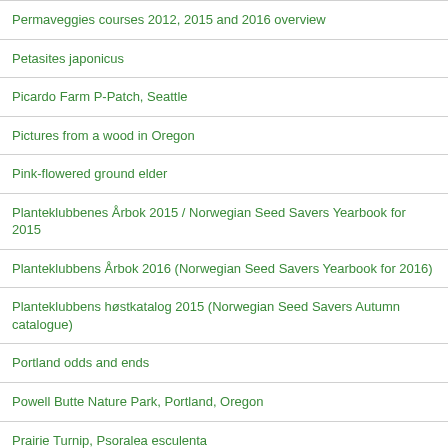Permaveggies courses 2012, 2015 and 2016 overview
Petasites japonicus
Picardo Farm P-Patch, Seattle
Pictures from a wood in Oregon
Pink-flowered ground elder
Planteklubbenes Årbok 2015 / Norwegian Seed Savers Yearbook for 2015
Planteklubbens Årbok 2016 (Norwegian Seed Savers Yearbook for 2016)
Planteklubbens høstkatalog 2015 (Norwegian Seed Savers Autumn catalogue)
Portland odds and ends
Powell Butte Nature Park, Portland, Oregon
Prairie Turnip, Psoralea esculenta
Purple flowered parsnip?